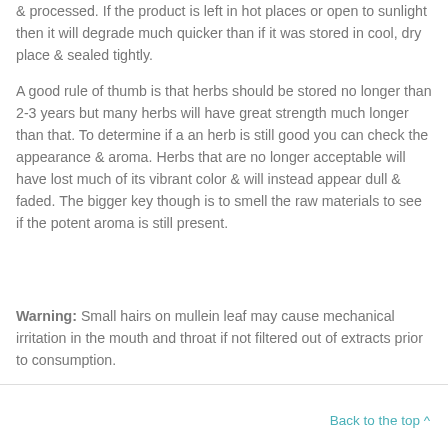& processed. If the product is left in hot places or open to sunlight then it will degrade much quicker than if it was stored in cool, dry place & sealed tightly.
A good rule of thumb is that herbs should be stored no longer than 2-3 years but many herbs will have great strength much longer than that. To determine if a an herb is still good you can check the appearance & aroma. Herbs that are no longer acceptable will have lost much of its vibrant color & will instead appear dull & faded. The bigger key though is to smell the raw materials to see if the potent aroma is still present.
Warning: Small hairs on mullein leaf may cause mechanical irritation in the mouth and throat if not filtered out of extracts prior to consumption.
Back to the top ^